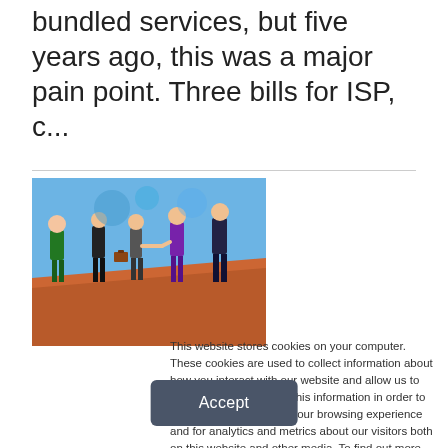bundled services, but five years ago, this was a major pain point. Three bills for ISP, c…
[Figure (illustration): Colorful illustrated image of several business people figures standing and shaking hands against a blue and orange background]
This website stores cookies on your computer. These cookies are used to collect information about how you interact with our website and allow us to remember you. We use this information in order to improve and customize your browsing experience and for analytics and metrics about our visitors both on this website and other media. To find out more about the cookies we use, see our Privacy Policy. California residents have the right to direct us not to sell their personal information to third parties by filing an Opt-Out Request: Do Not Sell My Personal Info.
Accept